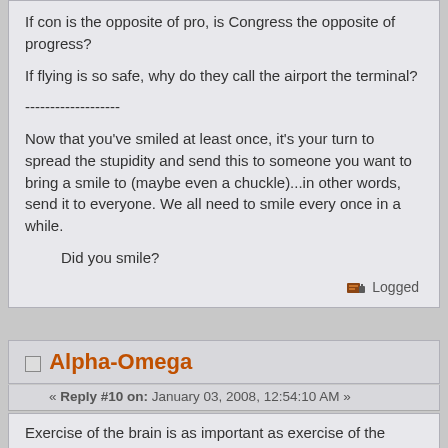If con is the opposite of pro, is Congress the opposite of progress?
If flying is so safe, why do they call the airport the terminal?
-------------------
Now that you've smiled at least once, it's your turn to spread the stupidity and send this to someone you want to bring a smile to (maybe even a chuckle)...in other words, send it to everyone. We all need to smile every once in a while.
Did you smile?
Logged
Alpha-Omega
« Reply #10 on: January 03, 2008, 12:54:10 AM »
Exercise of the brain is as important as exercise of the